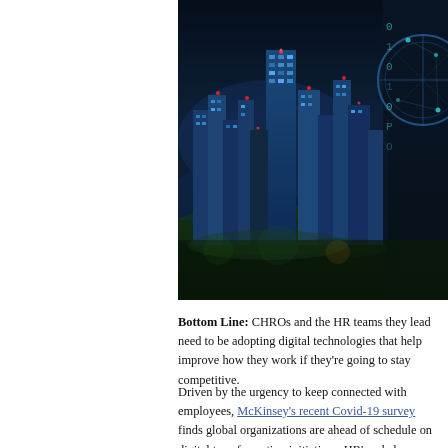[Figure (photo): Night cityscape of a major city with tall illuminated skyscrapers, overlaid with a digital/binary network graphic on the right side]
Bottom Line: CHROs and the HR teams they lead need to be adopting digital technologies that help improve how they work if they're going to stay competitive.
Driven by the urgency to keep connected with employees, McKinsey's recent Covid-19 survey finds global organizations are ahead of schedule on digital transformation initiatives. HR's role has evolved with the fast pace of digital adoption today. By providing Bus...